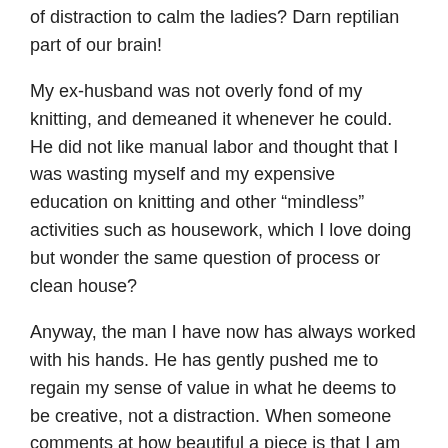of distraction to calm the ladies? Darn reptilian part of our brain!
My ex-husband was not overly fond of my knitting, and demeaned it whenever he could. He did not like manual labor and thought that I was wasting myself and my expensive education on knitting and other “mindless” activities such as housework, which I love doing but wonder the same question of process or clean house?
Anyway, the man I have now has always worked with his hands. He has gently pushed me to regain my sense of value in what he deems to be creative, not a distraction. When someone comments at how beautiful a piece is that I am knitting on, and then asks if I sell any of my items, he will invariably jump in and tell them that they could never afford it due to the time and energy I have spent on knitting it up (he also believes that the materials I buy should be the best).
He has reminded me that what I do is a valuable expression of